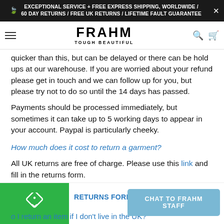EXCEPTIONAL SERVICE + FREE EXPRESS SHIPPING, WORLDWIDE / 60 DAY RETURNS / FREE UK RETURNS / LIFETIME FAULT GUARANTEE
[Figure (logo): FRAHM logo with tagline TOUGH BEAUTIFUL, navigation bar with hamburger menu, search, and cart icons]
quicker than this, but can be delayed or there can be hold ups at our warehouse. If you are worried about your refund please get in touch and we can follow up for you, but please try not to do so until the 14 days has passed.
Payments should be processed immediately, but sometimes it can take up to 5 working days to appear in your account. Paypal is particularly cheeky.
How much does it cost to return a garment?
All UK returns are free of charge. Please use this link and fill in the returns form.
RETURNS FORM LINK
Can I return an item if I don't live in the UK?